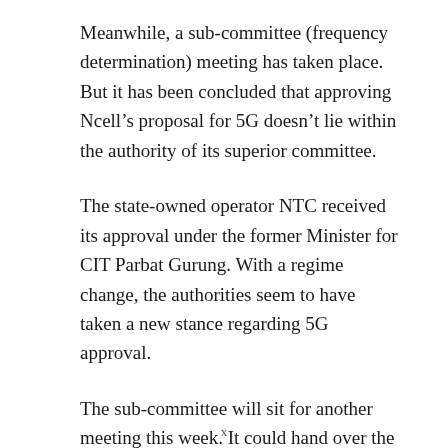Meanwhile, a sub-committee (frequency determination) meeting has taken place. But it has been concluded that approving Ncell’s proposal for 5G doesn’t lie within the authority of its superior committee.
The state-owned operator NTC received its approval under the former Minister for CIT Parbat Gurung. With a regime change, the authorities seem to have taken a new stance regarding 5G approval.
The sub-committee will sit for another meeting this week. It could hand over the authority to NTA to decide on Ncell’s 5G plans.
x